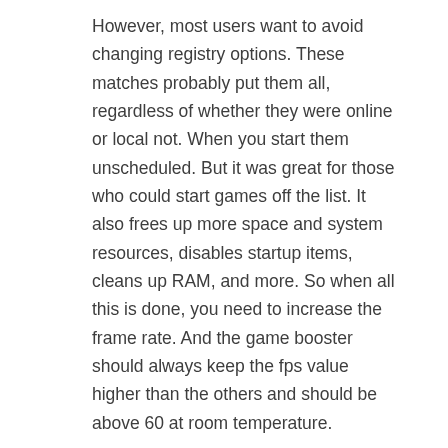However, most users want to avoid changing registry options. These matches probably put them all, regardless of whether they were online or local not. When you start them unscheduled. But it was great for those who could start games off the list. It also frees up more space and system resources, disables startup items, cleans up RAM, and more. So when all this is done, you need to increase the frame rate. And the game booster should always keep the fps value higher than the others and should be above 60 at room temperature.
Smart Game Booster Pro Torrent key uses advanced overclocking technology to study the potential performance of your graphics card. Overclocking most Nvidia and AMD graphics cards offers a one-click solution that can greatly improve your PC's performance. According to various test results, the older the graphics card, the better the performance after significant hardware improvements. Smart Game Booster Pro Crack supports